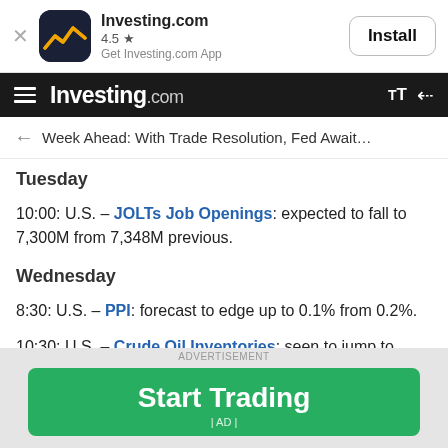[Figure (screenshot): Investing.com app install banner with app icon, name, 4.5 star rating, and Install button]
Investing.com
Week Ahead: With Trade Resolution, Fed Await…
Tuesday
10:00: U.S. – JOLTs Job Openings: expected to fall to 7,300M from 7,348M previous.
Wednesday
8:30: U.S. – PPI: forecast to edge up to 0.1% from 0.2%.
10:30: U.S. – Crude Oil Inventories: seen to jump to -2.488M from -4.771M. Still, inventory numbers have
ADVERTISEMENT
Start Trading | AD |